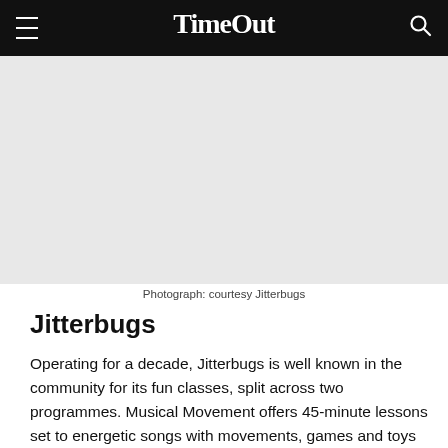TimeOut
[Figure (photo): Light gray placeholder image representing a photo from Jitterbugs]
Photograph: courtesy Jitterbugs
Jitterbugs
Operating for a decade, Jitterbugs is well known in the community for its fun classes, split across two programmes. Musical Movement offers 45-minute lessons set to energetic songs with movements, games and toys that will have your little one learning in an informal atmosphere – they've got classes for pre-walkers (under nine months) all the way to four years old. The Busy Bees